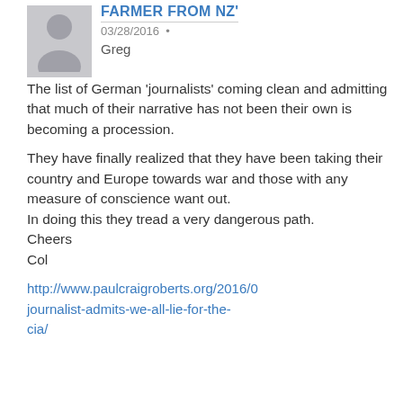FARMER FROM NZ'
03/28/2016 •
Greg
The list of German 'journalists' coming clean and admitting that much of their narrative has not been their own is becoming a procession.

They have finally realized that they have been taking their country and Europe towards war and those with any measure of conscience want out.
In doing this they tread a very dangerous path.
Cheers
Col
http://www.paulcraigroberts.org/2016/0journalist-admits-we-all-lie-for-the-cia/